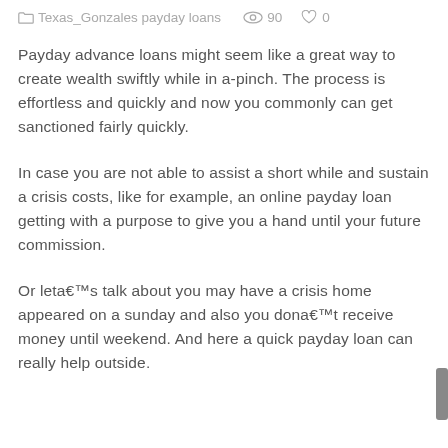Texas_Gonzales payday loans  👁 90  ♡ 0
Payday advance loans might seem like a great way to create wealth swiftly while in a-pinch. The process is effortless and quickly and now you commonly can get sanctioned fairly quickly.
In case you are not able to assist a short while and sustain a crisis costs, like for example, an online payday loan getting with a purpose to give you a hand until your future commission.
Or leta€™s talk about you may have a crisis home appeared on a sunday and also you dona€™t receive money until weekend. And here a quick payday loan can really help outside.